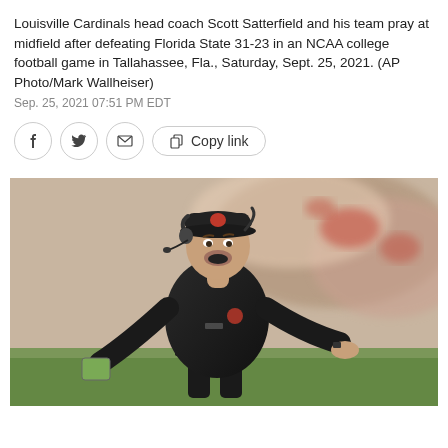Louisville Cardinals head coach Scott Satterfield and his team pray at midfield after defeating Florida State 31-23 in an NCAA college football game in Tallahassee, Fla., Saturday, Sept. 25, 2021. (AP Photo/Mark Wallheiser)
Sep. 25, 2021 07:51 PM EDT
[Figure (photo): Louisville Cardinals head coach Scott Satterfield standing on the sideline in a black polo shirt and red cap with headset, gesturing with arms out, crowd in background at a college football stadium.]